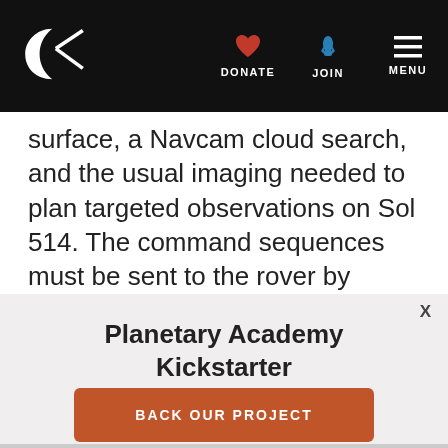DONATE JOIN MENU
surface, a Navcam cloud search, and the usual imaging needed to plan targeted observations on Sol 514. The command sequences must be sent to the rover by about 5 PM Pacific time, so planning started 1.5 hours earlier than usual — not as early as
X
Planetary Academy Kickstarter
BACK OUR PROJECT